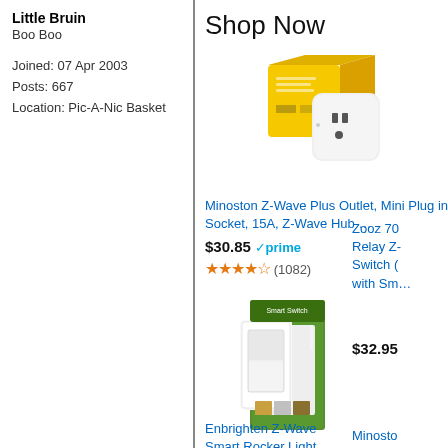Little Bruin
Boo Boo

Joined: 07 Apr 2003
Posts: 667
Location: Pic-A-Nic Basket
Shop Now
[Figure (photo): Minoston Z-Wave Plus smart plug product image showing yellow retail box and white plug device]
Minoston Z-Wave Plus Outlet, Mini Plug in Socket, 15A, Z-Wave Hub …
$30.85 ✓prime
★★★★☆ (1082)
Zooz 70 Relay Z- Switch ( with Sm…
$32.95
[Figure (photo): Enbrighten Z-Wave Smart Rocker Light Switch product image showing white switch plate and green retail packaging]
Enbrighten Z-Wave Smart Rocker Light Switch with QuickFit and Si…
Minosto Outdoor